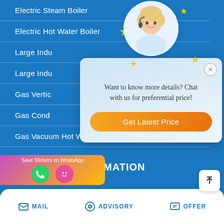Electric Steam Boiler
Electric Hot Water Boiler
Large Indu…
Large Indu…
Gas Vertic…
Gas Cond…
Gas Vacuum Hot Water Boiler
[Figure (screenshot): Chat popup overlay with customer service agent avatar, text 'Want to know more details? Chat with us for preferential price!' and orange 'Get Latest Price' button, with decorative gold stars around the avatar]
CONTACT INFORMATION
[Figure (screenshot): WhatsApp sticker saver bar with phone and emoji icons on pink-to-yellow gradient background]
[Figure (screenshot): Scroll-to-top button (white rounded square with upward arrow)]
MAIL   ADVISORY   OFFER